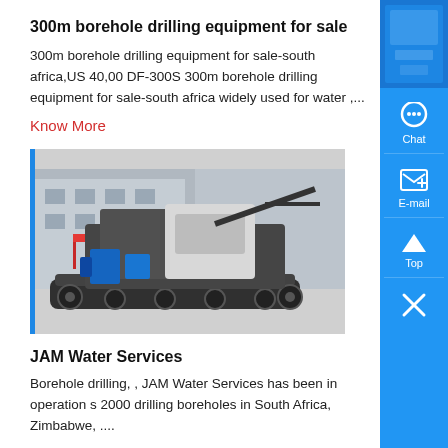300m borehole drilling equipment for sale
300m borehole drilling equipment for sale-south africa,US 40,00 DF-300S 300m borehole drilling equipment for sale-south africa widely used for water ,...
Know More
[Figure (photo): A large tracked borehole drilling machine/rig parked in front of industrial buildings. The machine is dark colored with blue hydraulic components.]
JAM Water Services
Borehole drilling, , JAM Water Services has been in operation s 2000 drilling boreholes in South Africa, Zimbabwe, ....
Know More